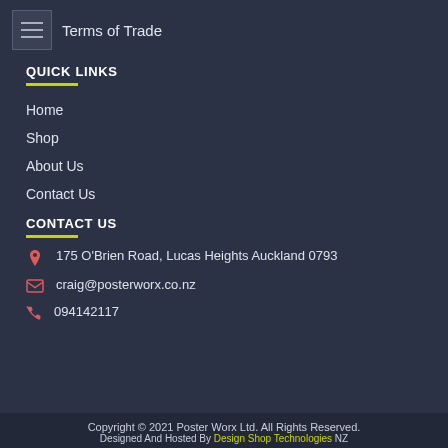Terms of Trade
QUICK LINKS
Home
Shop
About Us
Contact Us
CONTACT US
175 O'Brien Road, Lucas Heights Auckland 0793
craig@posterworx.co.nz
094142117
Copyright © 2021 Poster Worx Ltd. All Rights Reserved. Designed And Hosted By Design Shop Technologies NZ